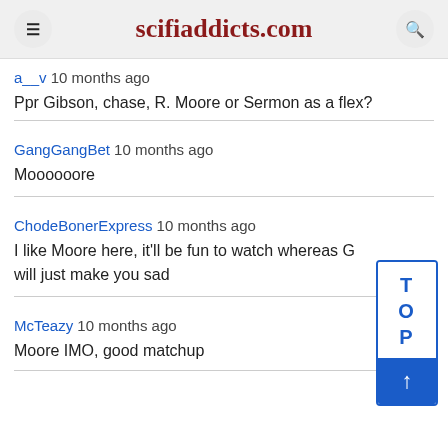scifiaddicts.com
a__v 10 months ago
Ppr Gibson, chase, R. Moore or Sermon as a flex?
GangGangBet 10 months ago
Moooooore
ChodeBonerExpress 10 months ago
I like Moore here, it'll be fun to watch whereas G will just make you sad
McTeazy 10 months ago
Moore IMO, good matchup